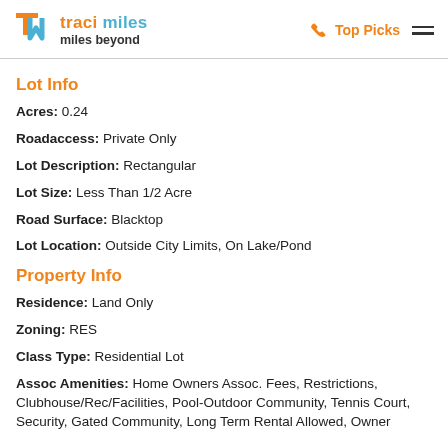traci miles miles beyond | Top Picks
Lot Info
Acres: 0.24
Roadaccess: Private Only
Lot Description: Rectangular
Lot Size: Less Than 1/2 Acre
Road Surface: Blacktop
Lot Location: Outside City Limits, On Lake/Pond
Property Info
Residence: Land Only
Zoning: RES
Class Type: Residential Lot
Assoc Amenities: Home Owners Assoc. Fees, Restrictions, Clubhouse/Rec/Facilities, Pool-Outdoor Community, Tennis Court, Security, Gated Community, Long Term Rental Allowed, Owner